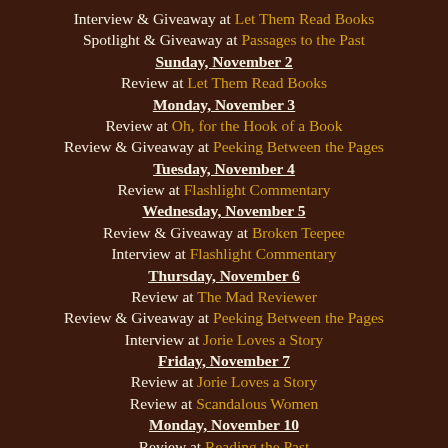Interview & Giveaway at Let Them Read Books
Spotlight & Giveaway at Passages to the Past
Sunday, November 2
Review at Let Them Read Books
Monday, November 3
Review at Oh, for the Hook of a Book
Review & Giveaway at Peeking Between the Pages
Tuesday, November 4
Review at Flashlight Commentary
Wednesday, November 5
Review & Giveaway at Broken Teepee
Interview at Flashlight Commentary
Thursday, November 6
Review at The Mad Reviewer
Review & Giveaway at Peeking Between the Pages
Interview at Jorie Loves a Story
Friday, November 7
Review at Jorie Loves a Story
Review at Scandalous Women
Monday, November 10
Review at Reading the Past
Guest Post & Giveaway at Historical Fiction Connection